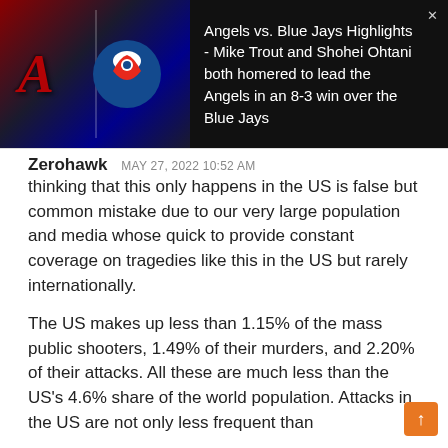[Figure (screenshot): Video thumbnail showing Angels vs Blue Jays logos on dark background]
Angels vs. Blue Jays Highlights - Mike Trout and Shohei Ohtani both homered to lead the Angels in an 8-3 win over the Blue Jays
Zerohawk   MAY 27, 2022 10:52 AM
thinking that this only happens in the US is false but common mistake due to our very large population and media whose quick to provide constant coverage on tragedies like this in the US but rarely internationally.
The US makes up less than 1.15% of the mass public shooters, 1.49% of their murders, and 2.20% of their attacks. All these are much less than the US's 4.6% share of the world population. Attacks in the US are not only less frequent than